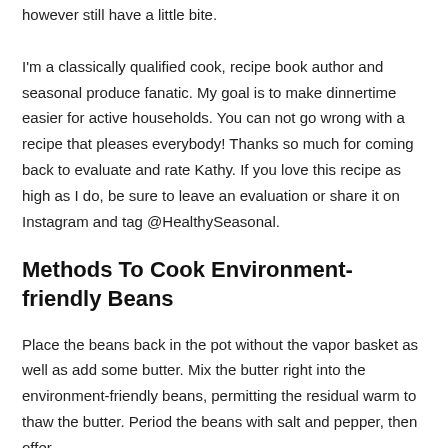however still have a little bite.
I'm a classically qualified cook, recipe book author and seasonal produce fanatic. My goal is to make dinnertime easier for active households. You can not go wrong with a recipe that pleases everybody! Thanks so much for coming back to evaluate and rate Kathy. If you love this recipe as high as I do, be sure to leave an evaluation or share it on Instagram and tag @HealthySeasonal.
Methods To Cook Environment-friendly Beans
Place the beans back in the pot without the vapor basket as well as add some butter. Mix the butter right into the environment-friendly beans, permitting the residual warm to thaw the butter. Period the beans with salt and pepper, then offer.